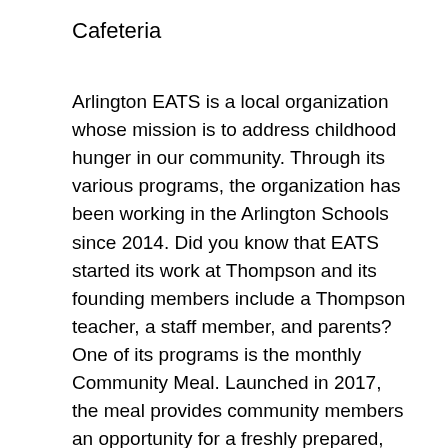Cafeteria
Arlington EATS is a local organization whose mission is to address childhood hunger in our community. Through its various programs, the organization has been working in the Arlington Schools since 2014. Did you know that EATS started its work at Thompson and its founding members include a Thompson teacher, a staff member, and parents? One of its programs is the monthly Community Meal. Launched in 2017, the meal provides community members an opportunity for a freshly prepared, sit-down dinner. The Thompson cafeteria is transformed into a pop-up restaurant and resonates with camaraderie and